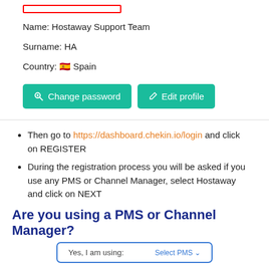[Figure (screenshot): Red rectangle outline at the top, indicating a highlighted/selected UI element]
Name: Hostaway Support Team
Surname: HA
Country: 🇪🇸 Spain
[Figure (screenshot): Two green buttons: 'Change password' and 'Edit profile']
Then go to https://dashboard.chekin.io/login and click on REGISTER
During the registration process you will be asked if you use any PMS or Channel Manager, select Hostaway and click on NEXT
Are you using a PMS or Channel Manager?
[Figure (screenshot): A dialog box with 'Yes, I am using:' and 'Select PMS' dropdown]